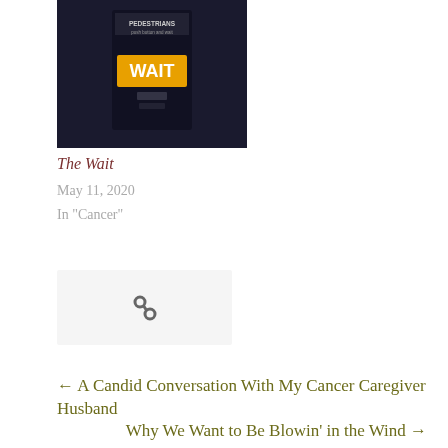[Figure (photo): A pedestrian crosswalk signal box showing a bright orange/yellow 'WAIT' sign illuminated, with text above reading 'PEDESTRIANS' and additional instructions. Dark background.]
The Wait
May 11, 2020
In "Cancer"
[Figure (other): Share/link icon (chain links symbol) on a light gray background box]
← A Candid Conversation With My Cancer Caregiver Husband
Why We Want to Be Blowin’ in the Wind →